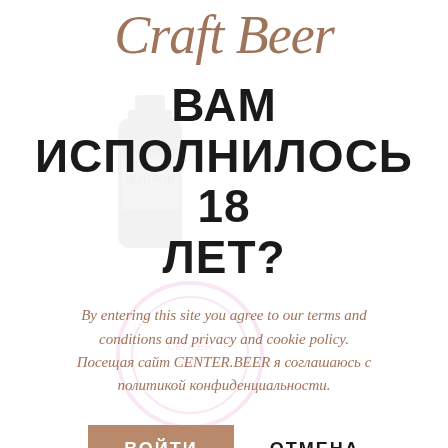Craft Beer
[Figure (illustration): Faded decorative background showing a beer bottle and a circular stamp/seal watermark]
ВАМ ИСПОЛНИЛОСЬ 18 ЛЕТ?
By entering this site you agree to our terms and conditions and privacy and cookie policy. Посещая сайт CENTER.BEER я соглашаюсь с политикой конфиденциальности.
ВОЙТИ
ОТМЕНА